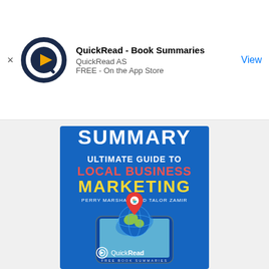[Figure (screenshot): App store advertisement banner for QuickRead - Book Summaries app showing logo, app name, developer QuickRead AS, FREE on the App Store, and a View button]
[Figure (illustration): Book cover for 'Ultimate Guide to Local Business Marketing' by Perry Marshall and Talor Zamir, published as a QuickRead summary. Shows a smartphone with a 3D globe and red location pin on a blue background.]